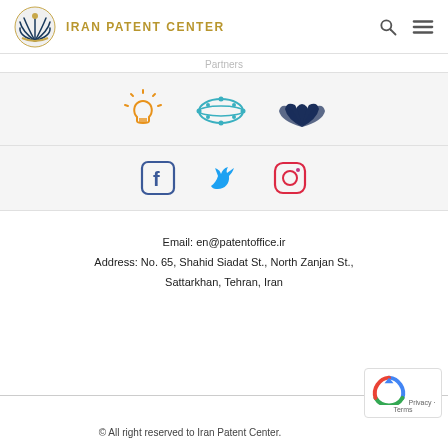IRAN PATENT CENTER
Partners
[Figure (logo): Three partner organization icons: lightbulb (orange), molecule ring (teal), lotus flower (dark navy)]
[Figure (logo): Social media icons: Facebook (blue), Twitter (cyan), Instagram (gradient pink/purple)]
Email: en@patentoffice.ir
Address: No. 65, Shahid Siadat St., North Zanjan St., Sattarkhan, Tehran, Iran
© All right reserved to Iran Patent Center.